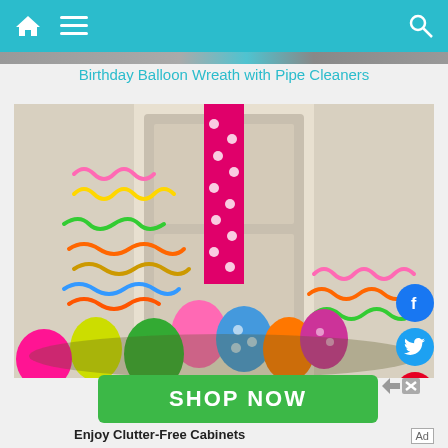Navigation bar with home, menu, and search icons
[Figure (photo): Partial top image strip showing a blurred background scene]
Birthday Balloon Wreath with Pipe Cleaners
[Figure (photo): Colorful birthday balloon wreath with pipe cleaners hanging on a white door, decorated with balloons in pink, green, blue, orange and yellow, with curly pipe cleaners. Social share buttons for Facebook, Twitter and Pinterest visible on the right side.]
[Figure (infographic): Green SHOP NOW advertisement banner with close/skip controls]
Enjoy Clutter-Free Cabinets
Ad